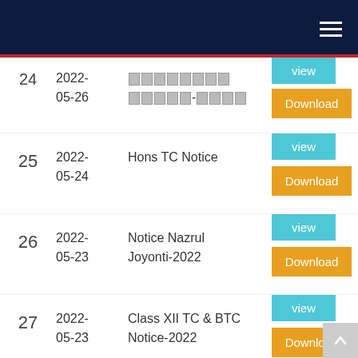Navigation header with hamburger menu
24 | 2022-05-26 | [redacted] | view | Download
25 | 2022-05-24 | Hons TC Notice | view | Download
26 | 2022-05-23 | Notice Nazrul Joyonti-2022 | view | Download
27 | 2022-05-23 | Class XII TC & BTC Notice-2022 | view | Download